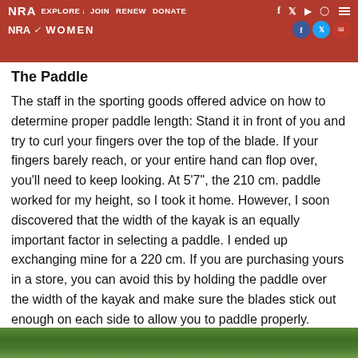NRA EXPLORE  JOIN  RENEW  DONATE  NRA WOMEN
The Paddle
The staff in the sporting goods offered advice on how to determine proper paddle length: Stand it in front of you and try to curl your fingers over the top of the blade. If your fingers barely reach, or your entire hand can flop over, you'll need to keep looking. At 5'7", the 210 cm. paddle worked for my height, so I took it home. However, I soon discovered that the width of the kayak is an equally important factor in selecting a paddle. I ended up exchanging mine for a 220 cm. If you are purchasing yours in a store, you can avoid this by holding the paddle over the width of the kayak and make sure the blades stick out enough on each side to allow you to paddle properly.
[Figure (photo): Outdoor nature/foliage scene at bottom of page]